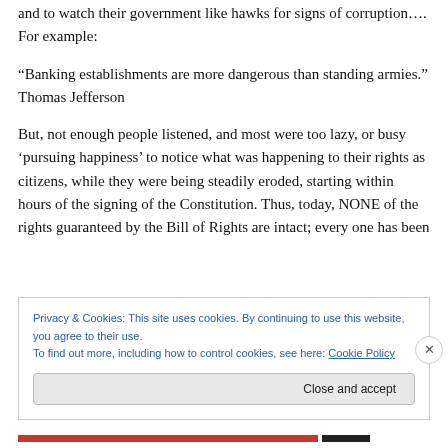and to watch their government like hawks for signs of corruption…. For example:
“Banking establishments are more dangerous than standing armies.” Thomas Jefferson
But, not enough people listened, and most were too lazy, or busy ‘pursuing happiness’ to notice what was happening to their rights as citizens, while they were being steadily eroded, starting within hours of the signing of the Constitution. Thus, today, NONE of the rights guaranteed by the Bill of Rights are intact; every one has been
Privacy & Cookies: This site uses cookies. By continuing to use this website, you agree to their use.
To find out more, including how to control cookies, see here: Cookie Policy
Close and accept